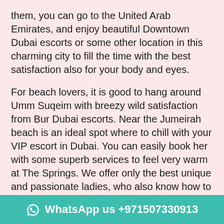them, you can go to the United Arab Emirates, and enjoy beautiful Downtown Dubai escorts or some other location in this charming city to fill the time with the best satisfaction also for your body and eyes.
For beach lovers, it is good to hang around Umm Suqeim with breezy wild satisfaction from Bur Dubai escorts. Near the Jumeirah beach is an ideal spot where to chill with your VIP escort in Dubai. You can easily book her with some superb services to feel very warm at The Springs. We offer only the best unique and passionate ladies, who also know how to be not only beautiful but also naughty UAE escort girls. You can also energize around Pearl Jumeirah if you want to enjoy the best nature-filled Arabic climate, Al Safa sensual massage females with all in one service like never before. You can shoot two things at once with exploring Palm Jumeirah with pure water as well as natural and at the same time modern Arabic coastline that you car
WhatsApp us +971507330913